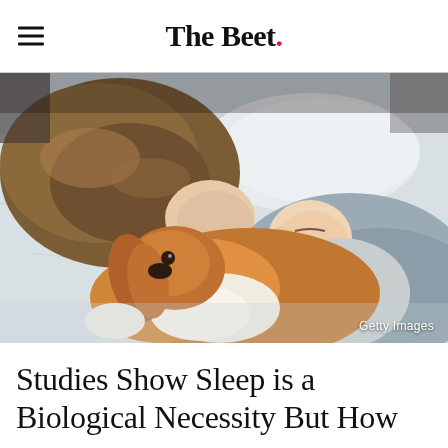The Beet.
[Figure (photo): A woman and a young child sleeping together on a bed, with a brown and white Cavalier King Charles Spaniel dog lying between them. The scene is peaceful and intimate, shot from above. A Getty Images watermark is in the lower right corner.]
Getty Images
Studies Show Sleep is a Biological Necessity But How